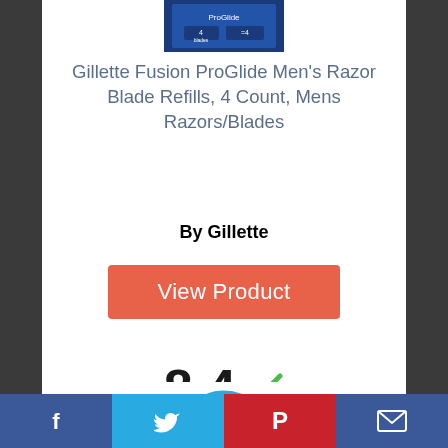[Figure (photo): Gillette Fusion ProGlide product package image (partial, top of card)]
Gillette Fusion ProGlide Men’s Razor Blade Refills, 4 Count, Mens Razors/Blades
By Gillette
View Product
8.4
Score
[Figure (infographic): Circle with number 4 inside, partially visible at bottom]
Facebook | Twitter | Pinterest | Email social share bar